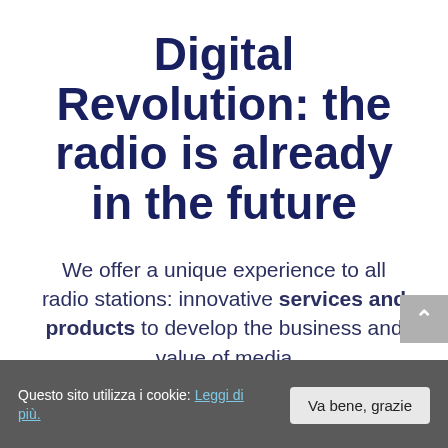Digital Revolution: the radio is already in the future
We offer a unique experience to all radio stations: innovative services and products to develop the business and value of media
Questo sito utilizza i cookie: Leggi di più.
Va bene, grazie